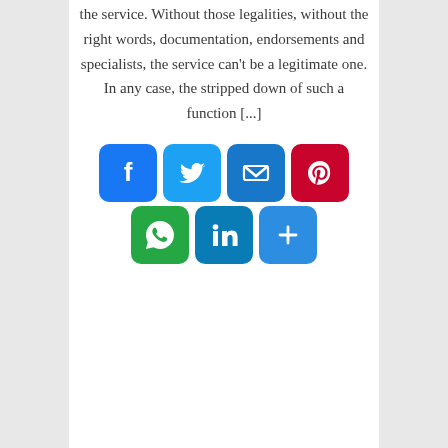the service. Without those legalities, without the right words, documentation, endorsements and specialists, the service can't be a legitimate one. In any case, the stripped down of such a function [...]
[Figure (infographic): Social sharing buttons: Facebook (blue), Twitter (light blue), Mail (dark blue), Pinterest (red) in top row; WhatsApp (green), LinkedIn (blue), More/Share (blue) in bottom row]